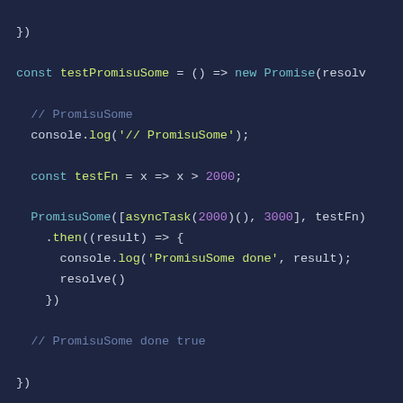[Figure (screenshot): Code editor screenshot showing JavaScript code with syntax highlighting on a dark navy background. Shows testPromisuSome and testPromisuFew arrow functions using Promises, with PromisuSome calls, console.log statements, and comments.]